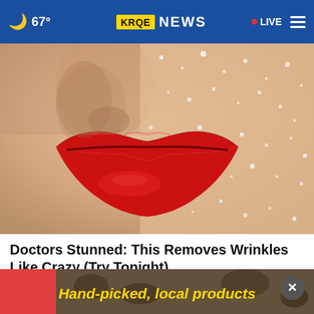67° KRQE NEWS  LIVE
[Figure (photo): Close-up of a woman's face showing bold red lips and glittery skin]
Doctors Stunned: This Removes Wrinkles Like Crazy (Try Tonight)
Rejuvalift
[Figure (photo): Advertisement banner reading 'Hand-picked, local products' with background photo and red banner]